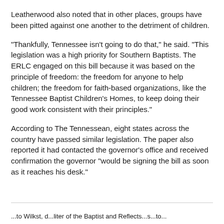Leatherwood also noted that in other places, groups have been pitted against one another to the detriment of children.
"Thankfully, Tennessee isn't going to do that," he said. "This legislation was a high priority for Southern Baptists. The ERLC engaged on this bill because it was based on the principle of freedom: the freedom for anyone to help children; the freedom for faith-based organizations, like the Tennessee Baptist Children's Homes, to keep doing their good work consistent with their principles."
According to The Tennessean, eight states across the country have passed similar legislation. The paper also reported it had contacted the governor's office and received confirmation the governor "would be signing the bill as soon as it reaches his desk."
...to Wilkst, d...liter of the Baptist and Reflects...s...to...